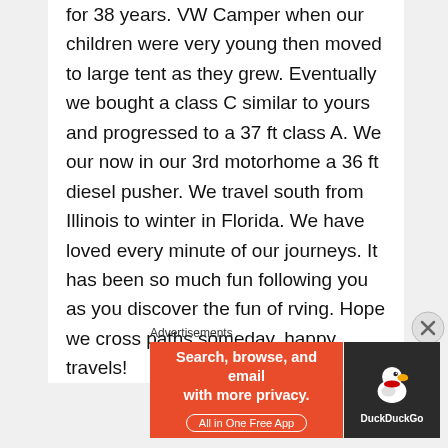for 38 years. VW Camper when our children were very young then moved to large tent as they grew. Eventually we bought a class C similar to yours and progressed to a 37 ft class A. We our now in our 3rd motorhome a 36 ft diesel pusher. We travel south from Illinois to winter in Florida. We have loved every minute of our journeys. It has been so much fun following you as you discover the fun of rving. Hope we cross paths someday, happy travels!
Advertisements
[Figure (other): DuckDuckGo advertisement banner: orange background on left with text 'Search, browse, and email with more privacy. All in One Free App', dark background on right with DuckDuckGo duck logo and brand name.]